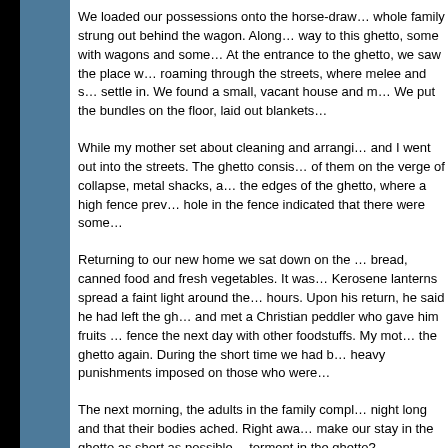We loaded our possessions onto the horse-drawn wagon, the whole family strung out behind the wagon. Along the way to this ghetto, some with wagons and some... At the entrance to the ghetto, we saw the place w... roaming through the streets, where melee and s... settle in. We found a small, vacant house and m... We put the bundles on the floor, laid out blankets...
While my mother set about cleaning and arrangi... and I went out into the streets. The ghetto consis... of them on the verge of collapse, metal shacks, a... the edges of the ghetto, where a high fence prev... hole in the fence indicated that there were some...
Returning to our new home we sat down on the ... bread, canned food and fresh vegetables. It was... Kerosene lanterns spread a faint light around the... hours. Upon his return, he said he had left the gh... and met a Christian peddler who gave him fruits ... fence the next day with other foodstuffs. My mot... the ghetto again. During the short time we had b... heavy punishments imposed on those who were...
The next morning, the adults in the family compl... night long and that their bodies ached. Right awa... make our stay in the ghetto as short as possible... torment in the ghetto?
We had no doubt that the situation in Poland wo... insufferable conditions on the freight trains to Po...